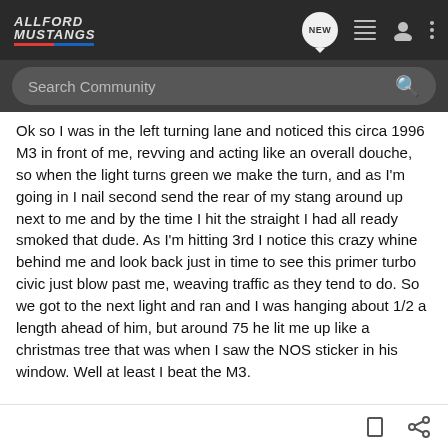AllFord Mustangs
Search Community
Ok so I was in the left turning lane and noticed this circa 1996 M3 in front of me, revving and acting like an overall douche, so when the light turns green we make the turn, and as I'm going in I nail second send the rear of my stang around up next to me and by the time I hit the straight I had all ready smoked that dude. As I'm hitting 3rd I notice this crazy whine behind me and look back just in time to see this primer turbo civic just blow past me, weaving traffic as they tend to do. So we got to the next light and ran and I was hanging about 1/2 a length ahead of him, but around 75 he lit me up like a christmas tree that was when I saw the NOS sticker in his window. Well at least I beat the M3.